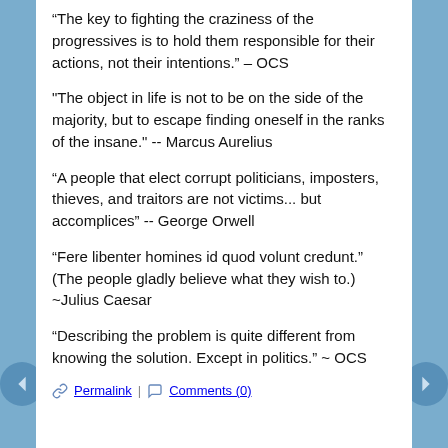“The key to fighting the craziness of the progressives is to hold them responsible for their actions, not their intentions.” – OCS
"The object in life is not to be on the side of the majority, but to escape finding oneself in the ranks of the insane." -- Marcus Aurelius
“A people that elect corrupt politicians, imposters, thieves, and traitors are not victims... but accomplices” -- George Orwell
“Fere libenter homines id quod volunt credunt.” (The people gladly believe what they wish to.) ~Julius Caesar
“Describing the problem is quite different from knowing the solution. Except in politics.” ~ OCS
Permalink | Comments (0)